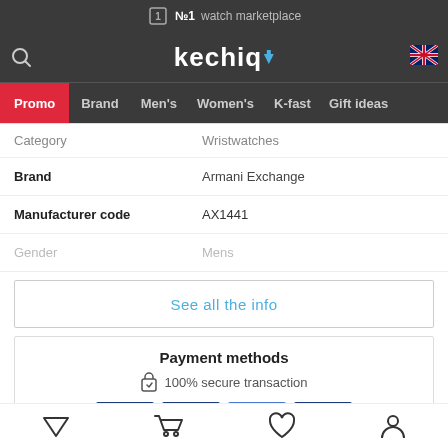№1 watch marketplace
[Figure (logo): Kechiq logo with search icon and UK flag]
Promo  Brand  Men's  Women's  K-fast  Gift ideas
| Category | Wristwatches |
| Brand | Armani Exchange |
| Manufacturer code | AX1441 |
| Gender | Mens |
See all the info
Payment methods
100% secure transaction